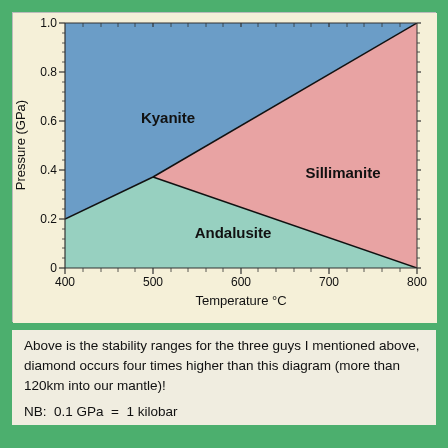[Figure (continuous-plot): Phase diagram showing stability fields of three Al2SiO5 polymorphs (Kyanite, Sillimanite, Andalusite) as a function of Temperature (°C, x-axis: 400–800) and Pressure (GPa, y-axis: 0–1.0). Kyanite occupies the upper-left (blue) field, Sillimanite the upper-right (pink) field, and Andalusite the lower-center (teal/mint) field. The three fields meet at a triple point near ~500°C, ~0.37 GPa.]
Above is the stability ranges for the three guys I mentioned above, diamond occurs four times higher than this diagram (more than 120km into our mantle)!
NB:  0.1 GPa  =  1 kilobar